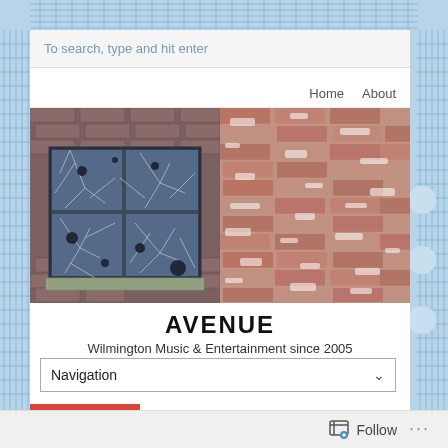To search, type and hit enter
Home   About
[Figure (photo): Photograph of a broken industrial window with cracked glass panes set in a brick wall; left half shows the dark metal-framed window with spider-web cracks, right half shows weathered red brick wall with flaking white paint.]
AVENUE
Wilmington Music & Entertainment since 2005
Navigation
AVENUE   Patrick Carr releases new instrumental album “Vox
Follow   ...